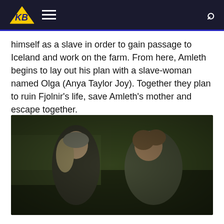KB — navigation header with logo, hamburger menu, and search icon
himself as a slave in order to gain passage to Iceland and work on the farm. From here, Amleth begins to lay out his plan with a slave-woman named Olga (Anya Taylor Joy). Together they plan to ruin Fjolnir's life, save Amleth's mother and escape together.
[Figure (photo): A movie still showing two characters in medieval clothing standing in a green grassy field. A young woman with long blonde hair and a grey headscarf faces a man with medium-length brown hair. Both are wearing rough linen tunics. The scene is from The Northman film.]
Visual story-telling can be an acquired taste